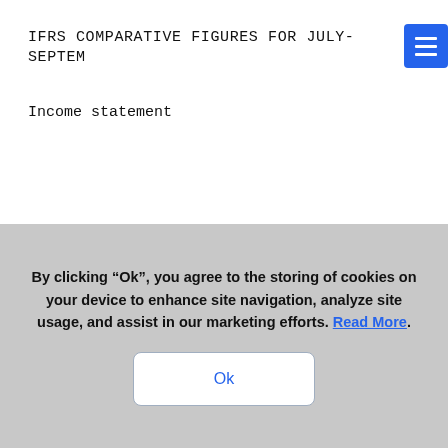IFRS COMPARATIVE FIGURES FOR JULY-SEPTEM…
Income statement
Net sales
By clicking “Ok”, you agree to the storing of cookies on your device to enhance site navigation, analyze site usage, and assist in our marketing efforts. Read More.